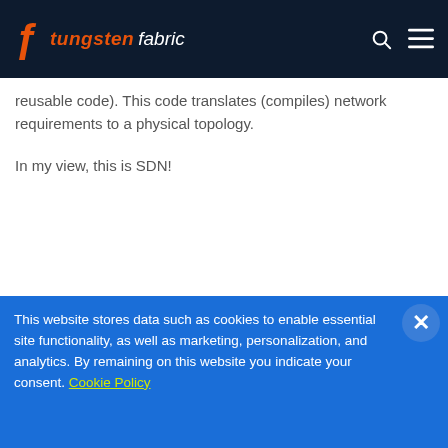tungsten fabric
reusable code). This code translates (compiles) network requirements to a physical topology.
In my view, this is SDN!
This website stores data such as cookies to enable essential site functionality, as well as marketing, personalization, and analytics. By remaining on this website you indicate your consent. Cookie Policy